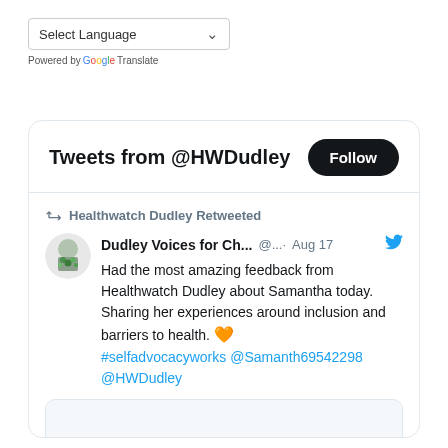[Figure (screenshot): Google Translate language selector widget showing 'Select Language' dropdown with a chevron arrow, and 'Powered by Google Translate' text below]
[Figure (screenshot): Twitter widget showing 'Tweets from @HWDudley' header with Follow button, and a retweet from Healthwatch Dudley of a tweet by 'Dudley Voices for Ch...' dated Aug 17, about feedback from Healthwatch Dudley about Samantha, with hashtag #selfadvocacyworks and mentions @Samanth69542298 @HWDudley, and an embedded image placeholder below]